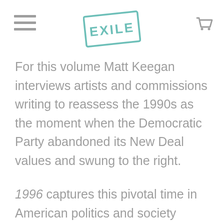EXILE (logo)
For this volume Matt Keegan interviews artists and commissions writing to reassess the 1990s as the moment when the Democratic Party abandoned its New Deal values and swung to the right.
1996 captures this pivotal time in American politics and society through the experience of artists who completed their undergraduate studies in that year and voted for Clinton, and others who were born in 1996 and voted for the first time in 2016. Essays focus on cultural and ideological shifts from that time, such as the 1994 Crime Bill, 1996 Immigration Act,